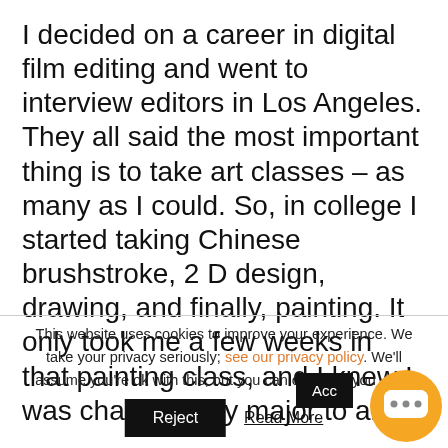I decided on a career in digital film editing and went to interview editors in Los Angeles. They all said the most important thing is to take art classes – as many as I could. So, in college I started taking Chinese brushstroke, 2 D design, drawing, and finally, painting. It only took me a few weeks in that painting class, and I knew I was changing my major to art.
This website uses cookies to improve your experience. We take your privacy seriously; see our privacy policy. We'll assume you're ok with this, but you can opt-out if you wish.
Accept
Reject
Read More